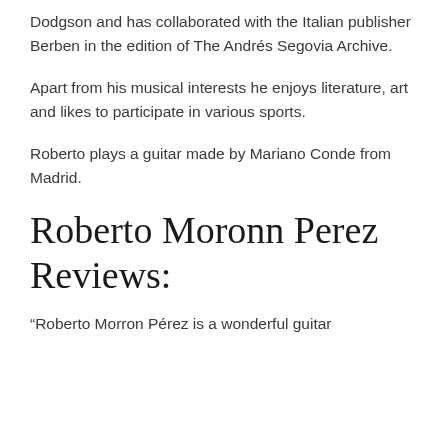Dodgson and has collaborated with the Italian publisher Berben in the edition of The Andrés Segovia Archive.
Apart from his musical interests he enjoys literature, art and likes to participate in various sports.
Roberto plays a guitar made by Mariano Conde from Madrid.
Roberto Moronn Perez Reviews:
“Roberto Morron Pérez is a wonderful guitar